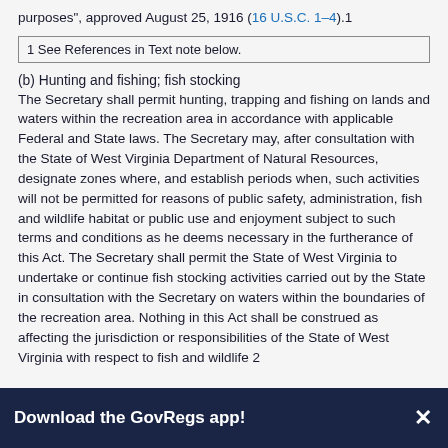purposes", approved August 25, 1916 (16 U.S.C. 1–4).1
1 See References in Text note below.
(b) Hunting and fishing; fish stocking
The Secretary shall permit hunting, trapping and fishing on lands and waters within the recreation area in accordance with applicable Federal and State laws. The Secretary may, after consultation with the State of West Virginia Department of Natural Resources, designate zones where, and establish periods when, such activities will not be permitted for reasons of public safety, administration, fish and wildlife habitat or public use and enjoyment subject to such terms and conditions as he deems necessary in the furtherance of this Act. The Secretary shall permit the State of West Virginia to undertake or continue fish stocking activities carried out by the State in consultation with the Secretary on waters within the boundaries of the recreation area. Nothing in this Act shall be construed as affecting the jurisdiction or responsibilities of the State of West Virginia with respect to fish and wildlife 2
Download the GovRegs app!